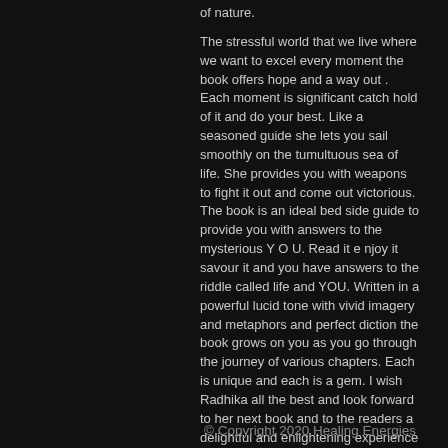of nature.

The stressful world that we live where we want to excel every moment the book offers hope and a way out . Each moment is significant catch hold of it and do your best. Like a seasoned guide she lets you sail smoothly on the tumultuous sea of life. She provides you with weapons to fight it out and come out victorious. The book is an ideal bed side guide to provide you with answers to the mysterious Y O U. Read it e njoy it savour it and you have answers to the riddle called life and YOU. Written in a powerful lucid tone with vivid imagery and metaphors and perfect diction the book grows on you as you go through the journey of various chapters. Each is unique and each is a gem. I wish Radhika all the best and look forward to her next book and to the readers a delightful and enlightening experience of soul and self and A BETTER EASY TO BE YOU. - Rama Sharma
© Copyright 2020 Healing Energies